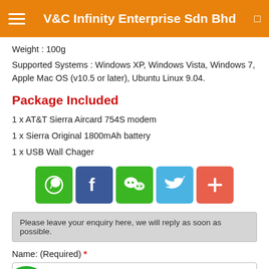V&C Infinity Enterprise Sdn Bhd
Weight : 100g
Supported Systems : Windows XP, Windows Vista, Windows 7, Apple Mac OS (v10.5 or later), Ubuntu Linux 9.04.
Package Included
1 x AT&T Sierra Aircard 754S modem
1 x Sierra Original 1800mAh battery
1 x USB Wall Chager
[Figure (infographic): Row of 5 social share buttons: WhatsApp (green), Facebook (blue), WeChat (green), Twitter (light blue), Add/More (coral/red)]
Please leave your enquiry here, we will reply as soon as possible.
Name: (Required) *
Enter your name
Company Name: